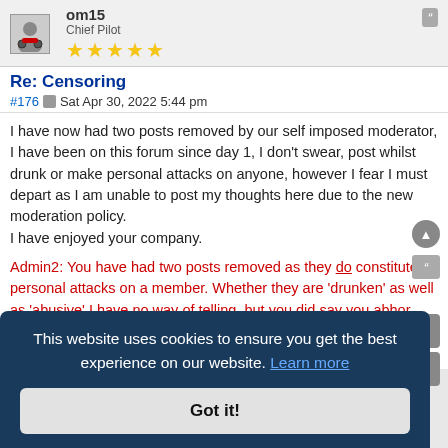om15
Chief Pilot
★★★★★
Re: Censoring
#176  Sat Apr 30, 2022 5:44 pm
I have now had two posts removed by our self imposed moderator, I have been on this forum since day 1, I don't swear, post whilst drunk or make personal attacks on anyone, however I fear I must depart as I am unable to post my thoughts here due to the new moderation policy.
I have enjoyed your company.
Admin2: You have had two posts removed as they do constitute personal attacks on a member. Whether they are 'drunken' as well as 'abusive' I have no way of telling, but you did say you abhor that sort of behaviour. Farewell.
This website uses cookies to ensure you get the best experience on our website. Learn more
Got it!